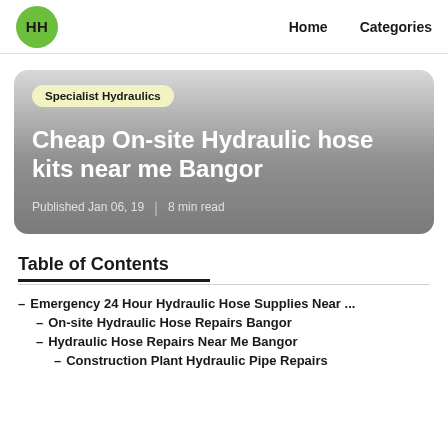HH | Home   Categories
[Figure (other): Hero card with gradient background showing category badge 'Specialist Hydraulics', article title 'Cheap On-site Hydraulic hose kits near me Bangor', and metadata 'Published Jan 06, 19 | 8 min read']
Table of Contents
– Emergency 24 Hour Hydraulic Hose Supplies Near ...
– On-site Hydraulic Hose Repairs Bangor
– Hydraulic Hose Repairs Near Me Bangor
– Construction Plant Hydraulic Pipe Repairs